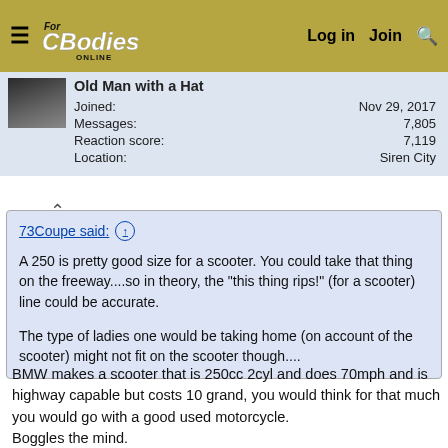For C Bodies Only — Log in  Join  Search
| Field | Value |
| --- | --- |
| Old Man with a Hat |  |
| Joined: | Nov 29, 2017 |
| Messages: | 7,805 |
| Reaction score: | 7,119 |
| Location: | Siren City |
73Coupe said: ↑ A 250 is pretty good size for a scooter. You could take that thing on the freeway....so in theory, the "this thing rips!" (for a scooter) line could be accurate.

The type of ladies one would be taking home (on account of the scooter) might not fit on the scooter though....
BMW makes a scooter that is 250cc 2cyl and does 70mph and is highway capable but costs 10 grand, you would think for that much you would go with a good used motorcycle.
Boggles the mind.
I learned this as seeing one many times in traffic and thinking WTF someone put BMW badges on his scooter as not being up